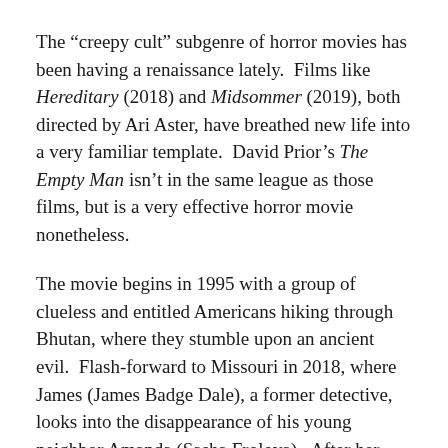The “creepy cult” subgenre of horror movies has been having a renaissance lately. Films like Hereditary (2018) and Midsommer (2019), both directed by Ari Aster, have breathed new life into a very familiar template. David Prior’s The Empty Man isn’t in the same league as those films, but is a very effective horror movie nonetheless.
The movie begins in 1995 with a group of clueless and entitled Americans hiking through Bhutan, where they stumble upon an ancient evil. Flash-forward to Missouri in 2018, where James (James Badge Dale), a former detective, looks into the disappearance of his young neighbor Amanda (Sasha Frolova). After her high school friends commit suicide, James visits an organization Amanda was familiar with, a Scientology stand-in named the Pontifex Institute. The more James learns about the Institute, the more nefarious the organization appears to be. Even more